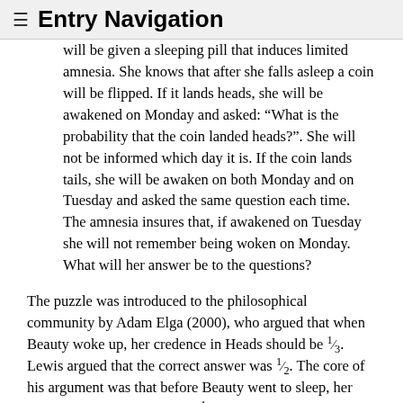≡ Entry Navigation
will be given a sleeping pill that induces limited amnesia. She knows that after she falls asleep a coin will be flipped. If it lands heads, she will be awakened on Monday and asked: “What is the probability that the coin landed heads?”. She will not be informed which day it is. If the coin lands tails, she will be awaken on both Monday and on Tuesday and asked the same question each time. The amnesia insures that, if awakened on Tuesday she will not remember being woken on Monday. What will her answer be to the questions?
The puzzle was introduced to the philosophical community by Adam Elga (2000), who argued that when Beauty woke up, her credence in Heads should be 1/3. Lewis argued that the correct answer was 1/2. The core of his argument was that before Beauty went to sleep, her credence in Heads should be 1/2. That was agreed on all sides. Moreover, nothing happened that surprised Beauty. Indeed, everything happened exactly as she expected it